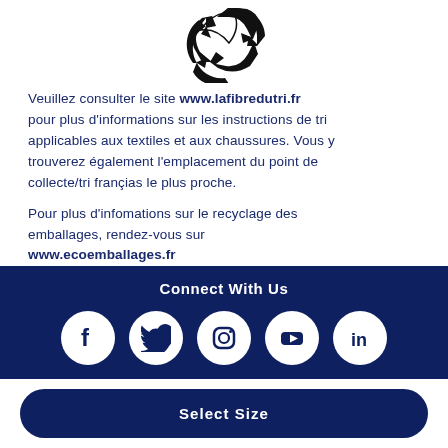[Figure (logo): Recycling/Triman logo in black at top center of page]
Veuillez consulter le site www.lafibredutri.fr pour plus d'informations sur les instructions de tri applicables aux textiles et aux chaussures. Vous y trouverez également l'emplacement du point de collecte/tri françias le plus proche.
Pour plus d'infomations sur le recyclage des emballages, rendez-vous sur www.ecoemballages.fr
Connect With Us
[Figure (illustration): Five social media icons in white circles on dark navy background: Facebook, Twitter, Instagram, YouTube, LinkedIn]
Select Size